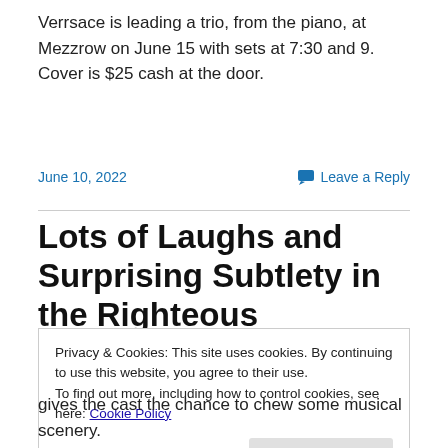Verrsace is leading a trio, from the piano, at Mezzrow on June 15 with sets at 7:30 and 9. Cover is $25 cash at the door.
June 10, 2022
Leave a Reply
Lots of Laughs and Surprising Subtlety in the Righteous Gemstones Season Two Score
Privacy & Cookies: This site uses cookies. By continuing to use this website, you agree to their use.
To find out more, including how to control cookies, see here: Cookie Policy
Close and accept
gives the cast the chance to chew some musical scenery.